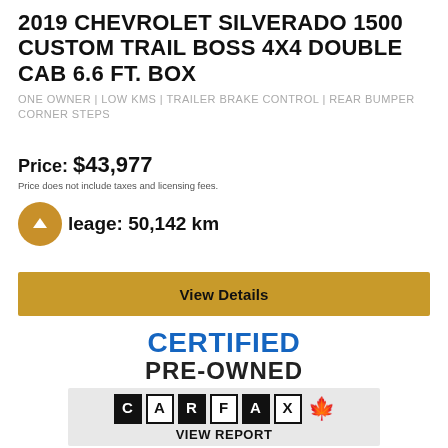2019 CHEVROLET SILVERADO 1500 CUSTOM TRAIL BOSS 4X4 DOUBLE CAB 6.6 FT. BOX
ONE OWNER | LOW KMS | TRAILER BRAKE CONTROL | REAR BUMPER CORNER STEPS
Price: $43,977
Price does not include taxes and licensing fees.
Mileage: 50,142 km
View Details
CERTIFIED PRE-OWNED
[Figure (logo): Chevrolet, Buick, and GMC brand logos]
[Figure (logo): CARFAX Canada logo with maple leaf]
VIEW REPORT